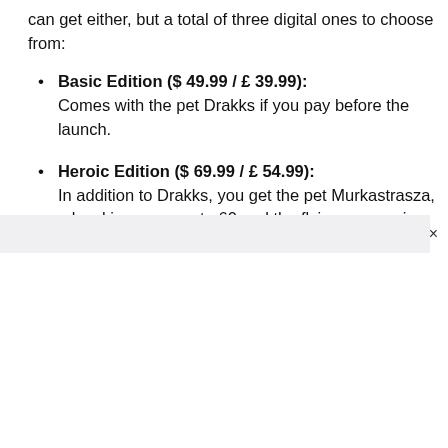can get either, but a total of three digital ones to choose from:
Basic Edition ($ 49.99 / £ 39.99): Comes with the pet Drakks if you pay before the launch.
Heroic Edition ($ 69.99 / £ 54.99): In addition to Drakks, you get the pet Murkastrasza, a level increase up to 60 and the flying companion Tangled Dreamweaver.